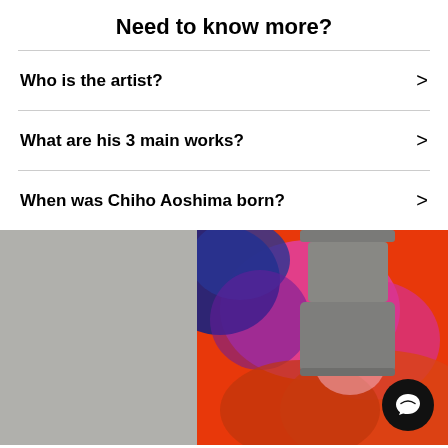Need to know more?
Who is the artist?
What are his 3 main works?
When was Chiho Aoshima born?
[Figure (photo): Colorful abstract artwork in red, orange, pink, blue and purple hues displayed on a wall, with two cylindrical grey pendant lamps hanging in front of it. The wall appears to be concrete/grey on either side of the framed artwork.]